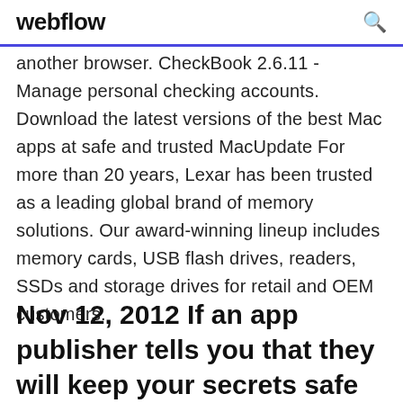webflow
another browser. CheckBook 2.6.11 - Manage personal checking accounts. Download the latest versions of the best Mac apps at safe and trusted MacUpdate For more than 20 years, Lexar has been trusted as a leading global brand of memory solutions. Our award-winning lineup includes memory cards, USB flash drives, readers, SSDs and storage drives for retail and OEM customers.
Nov 12, 2012 If an app publisher tells you that they will keep your secrets safe would you trust